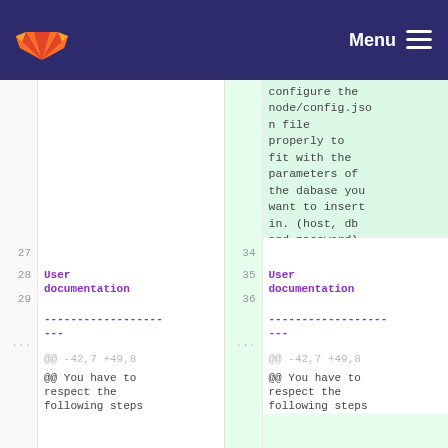GitLab — Menu
configure the node/config.json file properly to fit with the parameters of the dabase you want to insert in. (host, db and password).
| left line num | left code | right line num | right code |
| --- | --- | --- | --- |
| 27 |  | 34 |  |
| 28 | User documentation | 35 | User documentation |
| 29 | ------------------- | 36 | ------------------- |
| ... | @@ -42,7 +49,8 @@ | ... | @@ -42,7 +49,8 @@ |
|  | @@ You have to respect the following steps |  | @@ You have to respect the following steps |